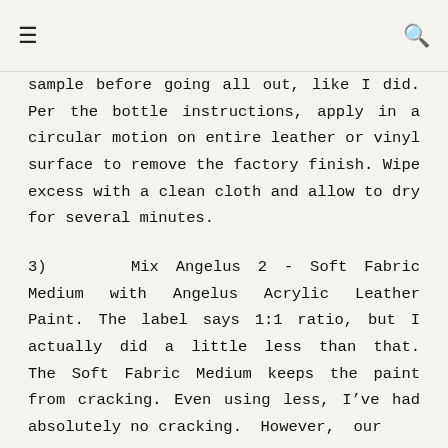≡  🔍
sample before going all out, like I did. Per the bottle instructions, apply in a circular motion on entire leather or vinyl surface to remove the factory finish. Wipe excess with a clean cloth and allow to dry for several minutes.
3)    Mix Angelus 2 - Soft Fabric Medium with Angelus Acrylic Leather Paint. The label says 1:1 ratio, but I actually did a little less than that. The Soft Fabric Medium keeps the paint from cracking. Even using less, I've had absolutely no cracking. However, our